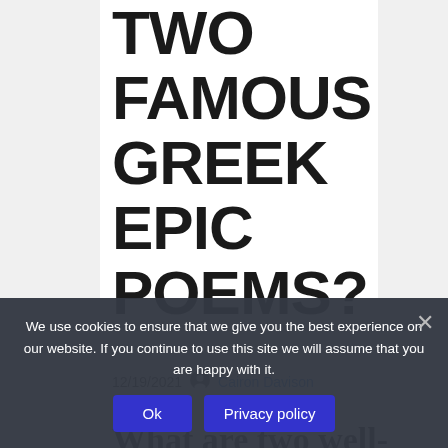TWO FAMOUS GREEK EPIC POEMS?
12/19/2021   Cairon Davison
What are two well-known Greek epic poems?
Homer is credited with writing the Iliad and the Odyssey two massively...
We use cookies to ensure that we give you the best experience on our website. If you continue to use this site we will assume that you are happy with it.